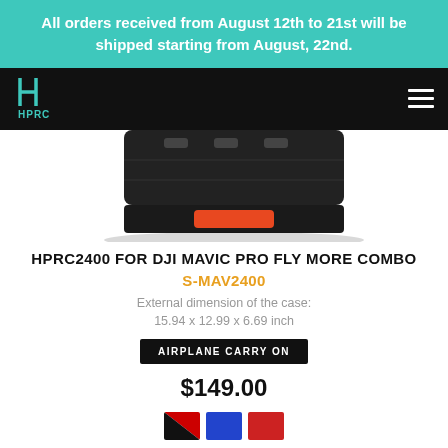All orders received from August 12th to 21st will be shipped starting from August, 22nd.
[Figure (logo): HPRC brand logo — teal H cross-bar symbol with HPRC text beneath, on black navigation bar]
[Figure (photo): HPRC hard protective case, black body with orange handle latch, viewed from top-front angle, partially cropped at top of product section]
HPRC2400 FOR DJI MAVIC PRO FLY MORE COMBO
S-MAV2400
External dimension of the case:
15.94 x 12.99 x 6.69 inch
AIRPLANE CARRY ON
$149.00
[Figure (other): Three color swatches: black/red diagonal split, solid blue, solid red]